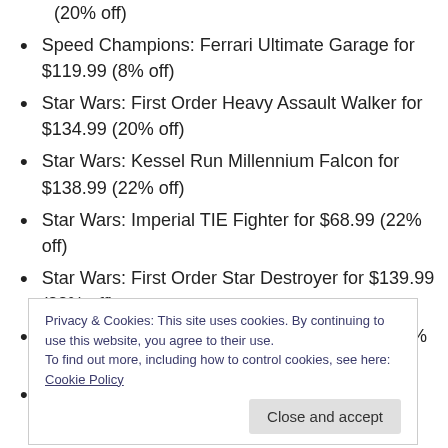(20% off)
Speed Champions: Ferrari Ultimate Garage for $119.99 (8% off)
Star Wars: First Order Heavy Assault Walker for $134.99 (20% off)
Star Wars: Kessel Run Millennium Falcon for $138.99 (22% off)
Star Wars: Imperial TIE Fighter for $68.99 (22% off)
Star Wars: First Order Star Destroyer for $139.99 (22% off)
Technic: Airport Rescue Vehicle for $99.99 (23% off)
Technic: Ocean Explorer for $109.99 (26% off)
Privacy & Cookies: This site uses cookies. By continuing to use this website, you agree to their use. To find out more, including how to control cookies, see here: Cookie Policy
(22% off)